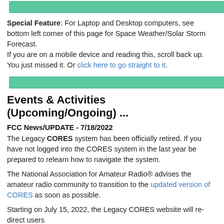[Figure (other): Green horizontal bar at top of page]
Special Feature: For Laptop and Desktop computers, see bottom left corner of this page for Space Weather/Solar Storm Forecast. If you are on a mobile device and reading this, scroll back up. You just missed it. Or click here to go straight to it.
[Figure (other): Green horizontal bar divider]
Events & Activities (Upcoming/Ongoing) ...
FCC News/UPDATE - 7/18/2022
The Legacy CORES system has been officially retired. If you have not logged into the CORES system in the last year be prepared to relearn how to navigate the system.
The National Association for Amateur Radio® advises the amateur radio community to transition to the updated version of CORES as soon as possible.
Starting on July 15, 2022, the Legacy CORES website will re-direct users